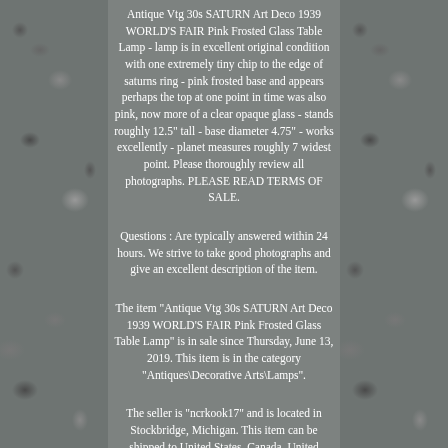Antique Vtg 30s SATURN Art Deco 1939 WORLD'S FAIR Pink Frosted Glass Table Lamp - lamp is in excellent original condition with one extremely tiny chip to the edge of saturns ring - pink frosted base and appears perhaps the top at one point in time was also pink, now more of a clear opaque glass - stands roughly 12.5" tall - base diameter 4.75" - works excellently - planet measures roughly 7 widest point. Please thoroughly review all photographs. PLEASE READ TERMS OF SALE.
Questions : Are typically answered within 24 hours. We strive to take good photographs and give an excellent description of the item.
The item "Antique Vtg 30s SATURN Art Deco 1939 WORLD'S FAIR Pink Frosted Glass Table Lamp" is in sale since Thursday, June 13, 2019. This item is in the category "Antiques\Decorative Arts\Lamps".
The seller is "ncrkook17" and is located in Stockbridge, Michigan. This item can be shipped to United States, Canada, United Kingdom, Denmark, Romania, Slovakia, Bulgaria, Czech republic, Finland, Hungary, Latvia, Lithuania, Malta, Estonia, Australia, Greece,